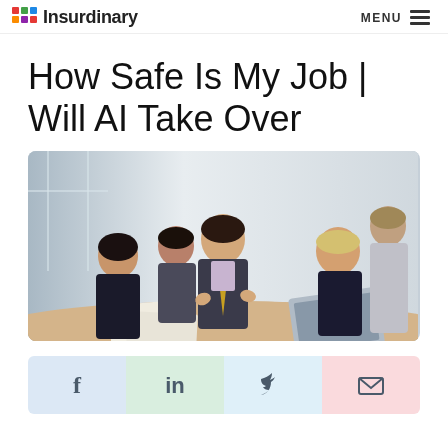Insurdinary | MENU
How Safe Is My Job | Will AI Take Over
[Figure (photo): Business professionals in a meeting around a table, man in suit with striped tie gesturing while speaking to colleagues]
[Figure (infographic): Social sharing bar with Facebook (f), LinkedIn (in), Twitter bird icon, and email envelope icon on colored backgrounds]